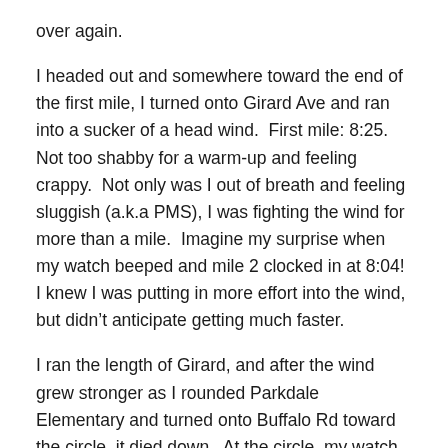over again.
I headed out and somewhere toward the end of the first mile, I turned onto Girard Ave and ran into a sucker of a head wind.  First mile: 8:25.  Not too shabby for a warm-up and feeling crappy.  Not only was I out of breath and feeling sluggish (a.k.a PMS), I was fighting the wind for more than a mile.  Imagine my surprise when my watch beeped and mile 2 clocked in at 8:04!  I knew I was putting in more effort into the wind, but didn't anticipate getting much faster.
I ran the length of Girard, and after the wind grew stronger as I rounded Parkdale Elementary and turned onto Buffalo Rd toward the circle, it died down.  At the circle, my watch beeped again: 7:43.  No way.  Now it was on.  I'd had negative splits each mile, and my OCD-self just had to